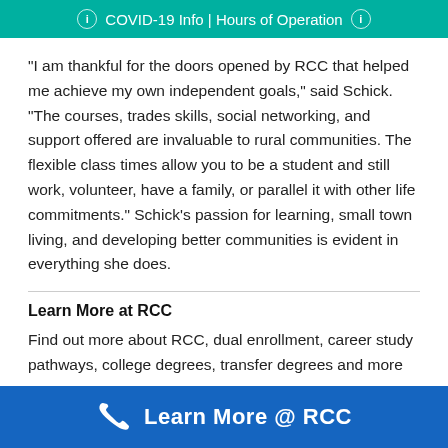COVID-19 Info | Hours of Operation
"I am thankful for the doors opened by RCC that helped me achieve my own independent goals," said Schick. "The courses, trades skills, social networking, and support offered are invaluable to rural communities. The flexible class times allow you to be a student and still work, volunteer, have a family, or parallel it with other life commitments." Schick's passion for learning, small town living, and developing better communities is evident in everything she does.
Learn More at RCC
Find out more about RCC, dual enrollment, career study pathways, college degrees, transfer degrees and more
Learn More @ RCC